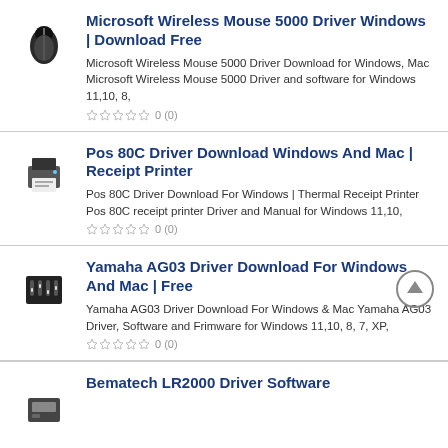Microsoft Wireless Mouse 5000 Driver Windows | Download Free
Microsoft Wireless Mouse 5000 Driver Download for Windows, Mac Microsoft Wireless Mouse 5000 Driver and software for Windows 11,10, 8,
0 (0)
Pos 80C Driver Download Windows And Mac | Receipt Printer
Pos 80C Driver Download For Windows | Thermal Receipt Printer Pos 80C receipt printer Driver and Manual for Windows 11,10,
0 (0)
Yamaha AG03 Driver Download For Windows And Mac | Free
Yamaha AG03 Driver Download For Windows & Mac Yamaha AG03 Driver, Software and Frimware for Windows 11,10, 8, 7, XP,
0 (0)
Bematech LR2000 Driver Software